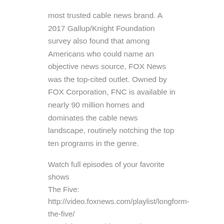most trusted cable news brand. A 2017 Gallup/Knight Foundation survey also found that among Americans who could name an objective news source, FOX News was the top-cited outlet. Owned by FOX Corporation, FNC is available in nearly 90 million homes and dominates the cable news landscape, routinely notching the top ten programs in the genre.
Watch full episodes of your favorite shows
The Five: http://video.foxnews.com/playlist/longform-the-five/
Special Report with Bret Baier: http://video.foxnews.com/playlist/longform-special-report/
Fox News Primetime: https://video.foxnews.com/playlist/on-air-fox-news-primetime/
Tucker Carlson Tonight: